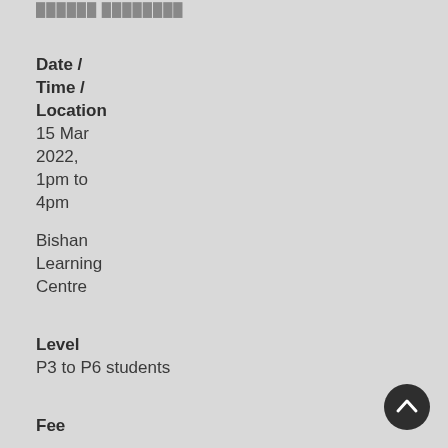██████ ████████
Date / Time / Location
15 Mar 2022, 1pm to 4pm
Bishan Learning Centre
Level
P3 to P6 students
Fee